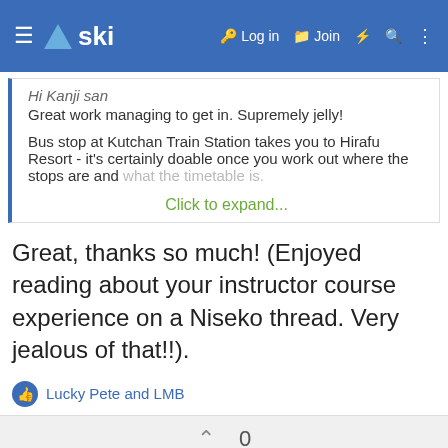ski — Log in  Join
Hi Kanji san
Great work managing to get in. Supremely jelly!

Bus stop at Kutchan Train Station takes you to Hirafu Resort - it's certainly doable once you work out where the stops are and what the timetable is.

Click to expand...
Great, thanks so much! (Enjoyed reading about your instructor course experience on a Niseko thread. Very jealous of that!!).
Lucky Pete and LMB
0